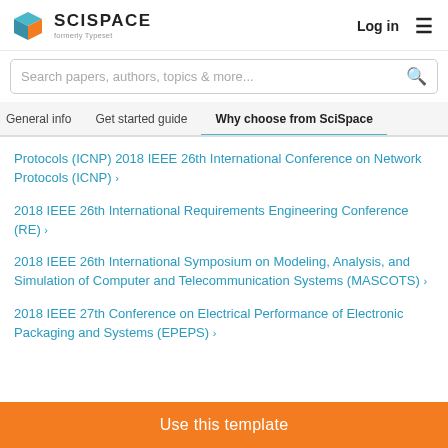[Figure (logo): SciSpace logo with colorful cube icon and text 'SCISPACE formerly Typeset']
Log in  ☰
Search papers, authors, topics & more...
General info   Get started guide   Why choose from SciSpace
Protocols (ICNP) 2018 IEEE 26th International Conference on Network Protocols (ICNP) >
2018 IEEE 26th International Requirements Engineering Conference (RE) >
2018 IEEE 26th International Symposium on Modeling, Analysis, and Simulation of Computer and Telecommunication Systems (MASCOTS) >
2018 IEEE 27th Conference on Electrical Performance of Electronic Packaging and Systems (EPEPS) >
Use this template